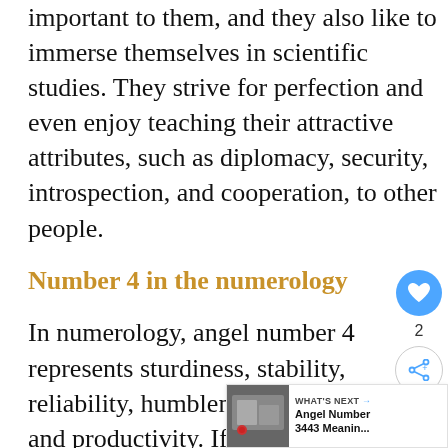important to them, and they also like to immerse themselves in scientific studies. They strive for perfection and even enjoy teaching their attractive attributes, such as diplomacy, security, introspection, and cooperation, to other people.
Number 4 in the numerology
In numerology, angel number 4 represents sturdiness, stability, reliability, humbleness, organ... and productivity. If your birthday is on
[Figure (other): Circular heart/like button (blue), share button, count label '2', and a 'WHAT'S NEXT' widget showing 'Angel Number 3443 Meanin...' with a thumbnail image]